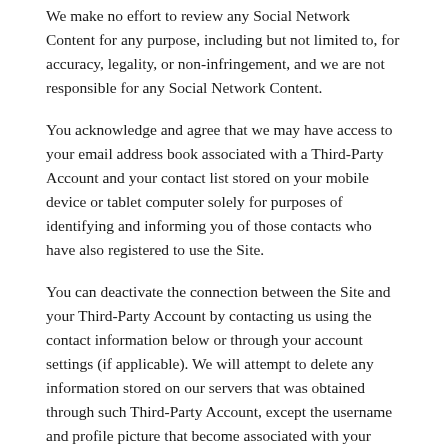We make no effort to review any Social Network Content for any purpose, including but not limited to, for accuracy, legality, or non-infringement, and we are not responsible for any Social Network Content.
You acknowledge and agree that we may have access to your email address book associated with a Third-Party Account and your contact list stored on your mobile device or tablet computer solely for purposes of identifying and informing you of those contacts who have also registered to use the Site.
You can deactivate the connection between the Site and your Third-Party Account by contacting us using the contact information below or through your account settings (if applicable). We will attempt to delete any information stored on our servers that was obtained through such Third-Party Account, except the username and profile picture that become associated with your account.
SUBMISSIONS